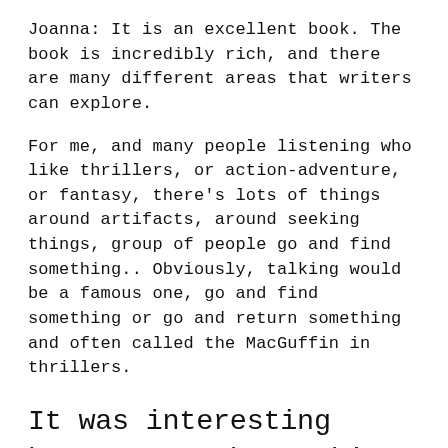Joanna: It is an excellent book. The book is incredibly rich, and there are many different areas that writers can explore.
For me, and many people listening who like thrillers, or action-adventure, or fantasy, there's lots of things around artifacts, around seeking things, group of people go and find something.. Obviously, talking would be a famous one, go and find something or go and return something and often called the MacGuffin in thrillers.
It was interesting because you have this whole chapter on the things we make and the things we leave behind. And that was really evocative chapter name